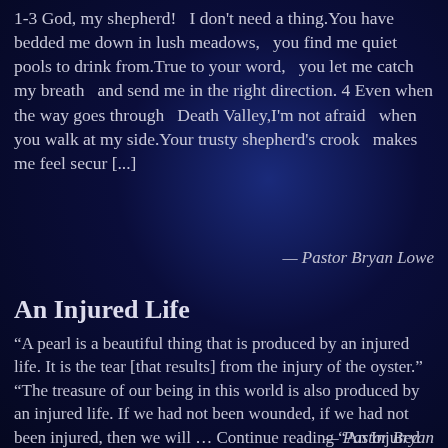1-3 God, my shepherd!   I don't need a thing.You have bedded me down in lush meadows,   you find me quiet pools to drink from.True to your word,   you let me catch my breath   and send me in the right direction. 4 Even when the way goes through   Death Valley,I'm not afraid   when you walk at my side.Your trusty shepherd's crook   makes me feel secur [...]
— Pastor Bryan Lowe
An Injured Life
“A pearl is a beautiful thing that is produced by an injured life. It is the tear [that results] from the injury of the oyster.” “The treasure of our being in this world is also produced by an injured life. If we had not been wounded, if we had not been injured, then we will … Continue reading "An Injured Life"
— Pastor Bryan Lowe